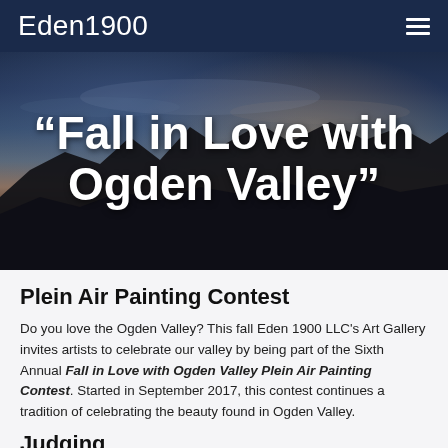Eden1900
[Figure (photo): Hero image of Ogden Valley at dusk/twilight with mountain silhouettes and a colorful sky, with large white bold text overlay reading: “Fall in Love with Ogden Valley”]
“Fall in Love with Ogden Valley”
Plein Air Painting Contest
Do you love the Ogden Valley? This fall Eden 1900 LLC’s Art Gallery invites artists to celebrate our valley by being part of the Sixth Annual Fall in Love with Ogden Valley Plein Air Painting Contest. Started in September 2017, this contest continues a tradition of celebrating the beauty found in Ogden Valley.
Judging